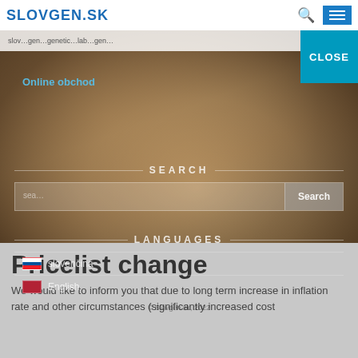SLOVGEN.SK
[Figure (screenshot): Website screenshot showing a dog/animal close-up photo in background with an open navigation overlay showing SEARCH and LANGUAGES sections. A CLOSE button appears in the top-right corner in teal/cyan color.]
Pricelist change
We would like to inform you that due to long term increase in inflation rate and other circumstances (significantly increased cost